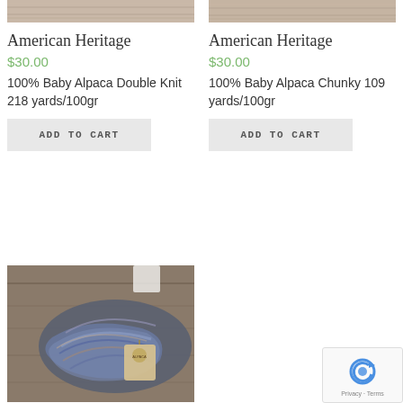[Figure (photo): Top portion of product image - wood grain texture background with yarn, left column]
[Figure (photo): Top portion of product image - wood grain texture background with yarn, right column]
American Heritage
$30.00
100% Baby Alpaca Double Knit 218 yards/100gr
ADD TO CART
American Heritage
$30.00
100% Baby Alpaca Chunky 109 yards/100gr
ADD TO CART
[Figure (photo): Skein of multicolored blue/brown/grey hand-dyed yarn on wooden background with alpaca label tag]